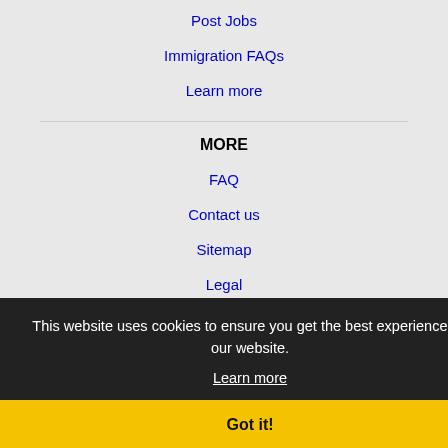Post Jobs
Immigration FAQs
Learn more
MORE
FAQ
Contact us
Sitemap
Legal
Privacy
This website uses cookies to ensure you get the best experience on our website.
Learn more
Got it!
NEARBY CITIES
Gastonia, NC Jobs
Greenville, SC Jobs
Hickory, NC Jobs
Huntersville, NC Jobs
Johnson City, TN Jobs